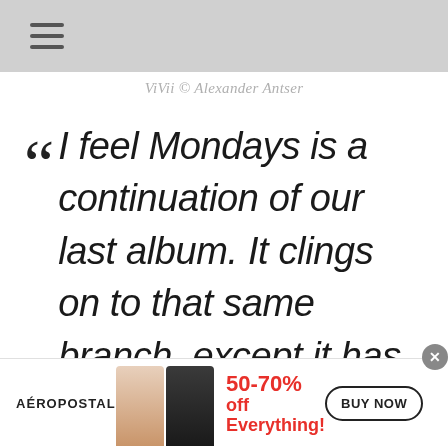ViVii © Alexander Antser
❝ I feel Mondays is a continuation of our last album. It clings on to that same branch, except it has grown a bit since last
[Figure (other): Aéropostale advertisement banner with two female models, text '50-70% off Everything!' in red, and a 'BUY NOW' button]